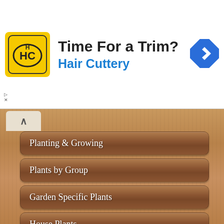[Figure (screenshot): Advertisement banner for Hair Cuttery with logo, headline 'Time For a Trim?', brand name, and navigation arrow icon]
Planting & Growing
Plants by Group
Garden Specific Plants
House Plants
Plant Buying Guide
Plant Hardiness Zones
Pests & Problems
Start Seed Indoors